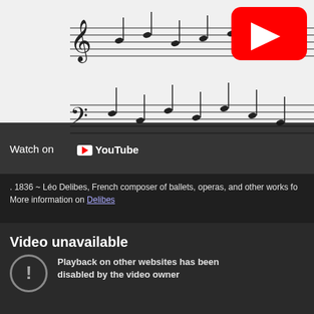[Figure (screenshot): YouTube embedded video player showing sheet music in background with YouTube logo and 'Watch on YouTube' overlay button. Video player is blocked with dark overlay at bottom showing 'Watch on YouTube' text.]
. 1836 ~ Léo Delibes, French composer of ballets, operas, and other works fo
More information on Delibes
[Figure (screenshot): Second YouTube embedded video showing 'Video unavailable' message with exclamation icon and text 'Playback on other websites has been disabled by the video owner']